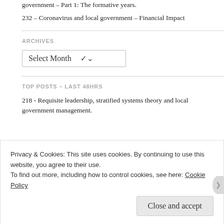government – Part 1: The formative years.
232 – Coronavirus and local government – Financial Impact
ARCHIVES
Select Month
TOP POSTS – LAST 48HRS
218 - Requisite leadership, stratified systems theory and local government management.
Privacy & Cookies: This site uses cookies. By continuing to use this website, you agree to their use.
To find out more, including how to control cookies, see here: Cookie Policy
Close and accept